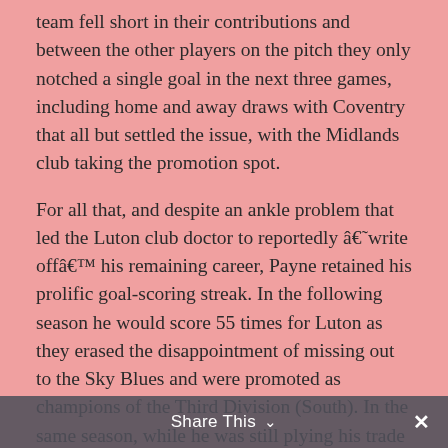team fell short in their contributions and between the other players on the pitch they only notched a single goal in the next three games, including home and away draws with Coventry that all but settled the issue, with the Midlands club taking the promotion spot.
For all that, and despite an ankle problem that led the Luton club doctor to reportedly â€˜write offâ€™ his remaining career, Payne retained his prolific goal-scoring streak. In the following season he would score 55 times for Luton as they erased the disappointment of missing out to the Sky Blues and were promoted as champions of the Third Division (South). In the same season, while he was still plying his trade in that division, Payne was called up for England to play in a Friendly at the TÃ¶Ã¶lÃ¶n PallokenttÃ¤ stadium in Helsinki. Despite scoring twice, among illustrious company wearing the white shirts of England, he would
Share This ×